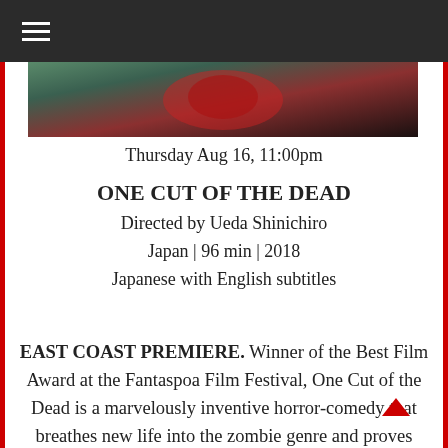≡
[Figure (photo): Partial film still showing a character with blood-red costume or wound, dark dramatic image from One Cut of the Dead]
Thursday Aug 16, 11:00pm
ONE CUT OF THE DEAD
Directed by Ueda Shinichiro
Japan | 96 min | 2018
Japanese with English subtitles
EAST COAST PREMIERE. Winner of the Best Film Award at the Fantaspoa Film Festival, One Cut of the Dead is a marvelously inventive horror-comedy that breathes new life into the zombie genre and proves there's somewhere the apocalypse movie hasn't yet gone. It opens with an utterly awe-inspiring nearly 40-minute single take of cheerfully gory monster mayhem before